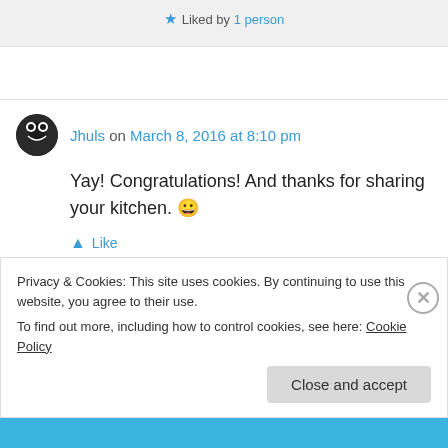Liked by 1 person
Jhuls on March 8, 2016 at 8:10 pm
Yay! Congratulations! And thanks for sharing your kitchen. 😀
Like
Privacy & Cookies: This site uses cookies. By continuing to use this website, you agree to their use.
To find out more, including how to control cookies, see here: Cookie Policy
Close and accept